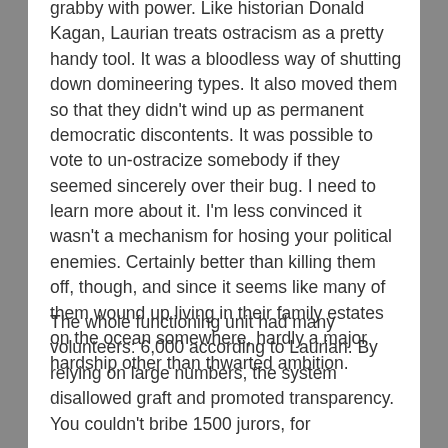grabby with power. Like historian Donald Kagan, Laurian treats ostracism as a pretty handy tool. It was a bloodless way of shutting down domineering types. It also moved them so that they didn't wind up as permanent democratic discontents. It was possible to vote to un-ostracize somebody if they seemed sincerely over their bug. I need to learn more about it. I'm less convinced it wasn't a mechanism for hosing your political enemies. Certainly better than killing them off, though, and since it seems like many of them wound up living in their family estates on the ocean somewhere, hardly a major hardship other than thwarted ambition.
The whole functioning unit had many volunteers: 6,000 according to Laurian. By relying on large numbers, the system disallowed graft and promoted transparency. You couldn't bribe 1500 jurors, for